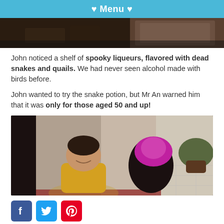♥ Menu ♥
[Figure (photo): Top portion of a shelf with dark background showing bottles or jars]
John noticed a shelf of spooky liqueurs, flavored with dead snakes and quails. We had never seen alcohol made with birds before.
John wanted to try the snake potion, but Mr An warned him that it was only for those aged 50 and up!
[Figure (photo): Two women sitting on a tiled floor; one wearing a yellow shirt smiling, one with bright pink/purple hair with back turned]
[Figure (infographic): Social media share icons: Facebook, Twitter, Pinterest, LinkedIn]